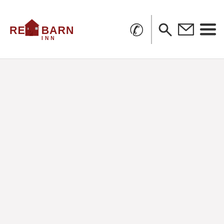[Figure (logo): Red Barn Inn logo with red barn icon and text RED BARN INN]
[Figure (infographic): Navigation icons: phone, search, envelope, hamburger menu]